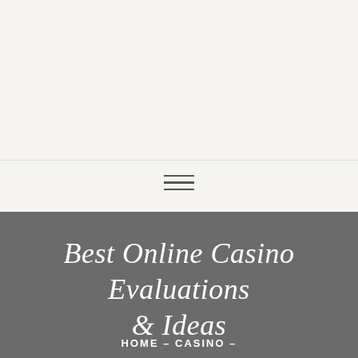[Figure (other): Hamburger/menu icon (three horizontal lines) in a light beige navigation bar]
Best Online Casino Evaluations & Ideas
HOME - CASINO -